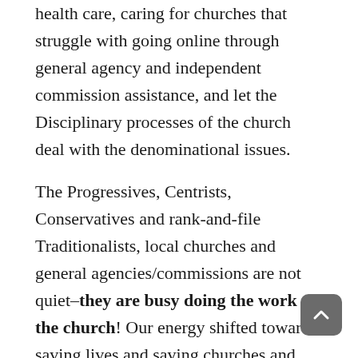health care, caring for churches that struggle with going online through general agency and independent commission assistance, and let the Disciplinary processes of the church deal with the denominational issues.
The Progressives, Centrists, Conservatives and rank-and-file Traditionalists, local churches and general agencies/commissions are not quiet–they are busy doing the work of the church! Our energy shifted towards saving lives and saving churches and continuing parachurch ministries. Not a bad thing to be busy doing!
Significantly, the dominant efforts for a more just